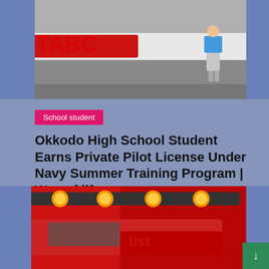[Figure (photo): Person in blue shirt and shorts standing near a small aircraft with red lettering on a tarmac, top portion cropped]
School student
Okkodo High School Student Earns Private Pilot License Under Navy Summer Training Program | Way of life
Korina C. Merrill   ||  August 11, 2022
[Figure (photo): Emergency vehicle / ambulance with flashing amber/orange lights on roof, red background lighting, front of truck visible]